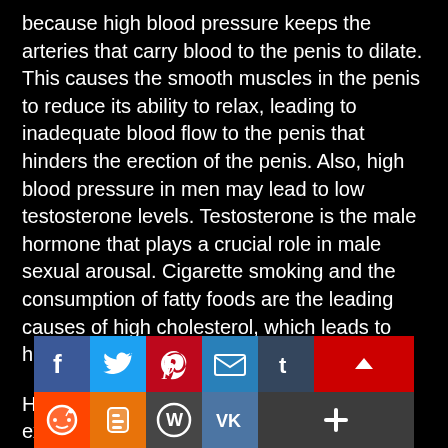because high blood pressure keeps the arteries that carry blood to the penis to dilate. This causes the smooth muscles in the penis to reduce its ability to relax, leading to inadequate blood flow to the penis that hinders the erection of the penis. Also, high blood pressure in men may lead to low testosterone levels. Testosterone is the male hormone that plays a crucial role in male sexual arousal. Cigarette smoking and the consumption of fatty foods are the leading causes of high cholesterol, which leads to high blood pressure.
Health specialists advise individuals to exercise and undergo other physical activities. These activities, however, should be done moderately to avoid over-training. Clinical studies show that proper exercise may enable the body to produce more testosterone. Additionally, a substance called endorphin is produced during exercise. The endorphins give periods of relaxation and bliss and relieve people who exercise stress and anxiety that they
[Figure (other): Social media sharing bar with icons for Facebook, Twitter, Pinterest, Email, Tumblr, and a scroll-up button (row 1), and Reddit, Blogger, WordPress, VK, and More/Share (row 2)]